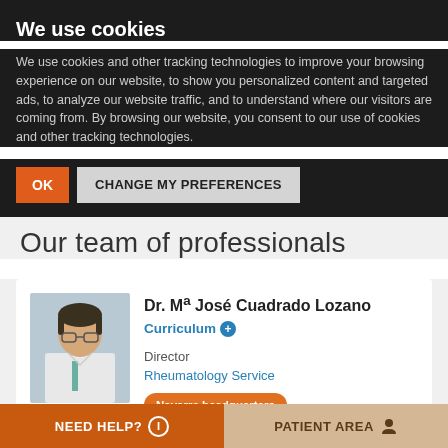We use cookies
We use cookies and other tracking technologies to improve your browsing experience on our website, to show you personalized content and targeted ads, to analyze our website traffic, and to understand where our visitors are coming from. By browsing our website, you consent to our use of cookies and other tracking technologies.
OK   CHANGE MY PREFERENCES
Our team of professionals
[Figure (photo): Photo of Dr. Mª José Cuadrado Lozano, a woman in white coat with glasses]
Dr. Mª José Cuadrado Lozano
Curriculum ➕
Director
Rheumatology Service
Navarre headquarters   Madrid headquarters
NEED HELP? ℹ   PATIENT AREA 👤